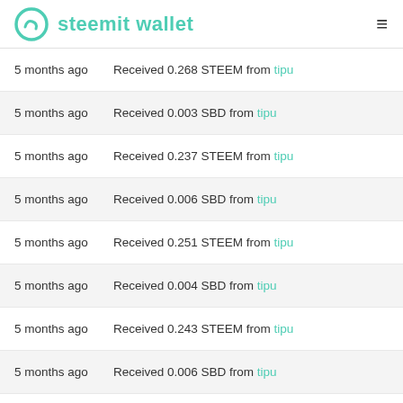steemit wallet
5 months ago  Received 0.268 STEEM from tipu
5 months ago  Received 0.003 SBD from tipu
5 months ago  Received 0.237 STEEM from tipu
5 months ago  Received 0.006 SBD from tipu
5 months ago  Received 0.251 STEEM from tipu
5 months ago  Received 0.004 SBD from tipu
5 months ago  Received 0.243 STEEM from tipu
5 months ago  Received 0.006 SBD from tipu
5 months ago  Received 0.244 STEEM from tipu